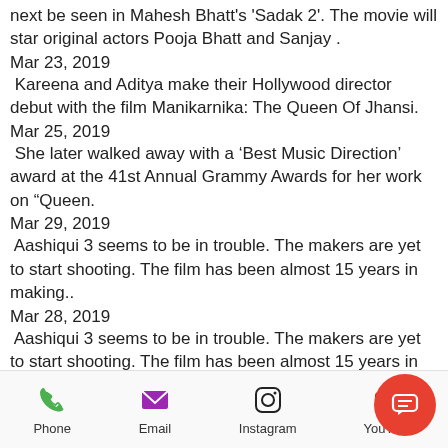next be seen in Mahesh Bhatt's 'Sadak 2'. The movie will star original actors Pooja Bhatt and Sanjay .
Mar 23, 2019
Kareena and Aditya make their Hollywood director debut with the film Manikarnika: The Queen Of Jhansi.
Mar 25, 2019
She later walked away with a ‘Best Music Direction’ award at the 41st Annual Grammy Awards for her work on “Queen.
Mar 29, 2019
Aashiqui 3 seems to be in trouble. The makers are yet to start shooting. The film has been almost 15 years in making..
Mar 28, 2019
Aashiqui 3 seems to be in trouble. The makers are yet to start shooting. The film has been almost 15 years in making.
Phone  Email  Instagram  YouTube